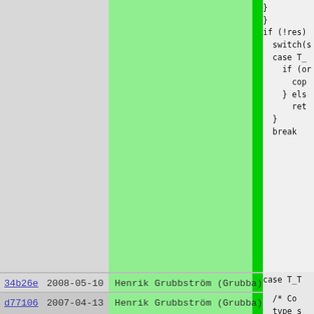| Commit | Date | Author | Code |
| --- | --- | --- | --- |
|  |  |  | }
}
if (!res)
  switch(s
  case T_
    if (on
      cop
    } els
      ret
  }
  break |
| 34b26e | 2008-05-10 | Henrik Grubbström (Grubba) | case T_T
  /* Co
  type_s
  push_t
  push_t
  push_t
  push_t
  push_t
  tmp =
  res =
  break |
| d77106 | 2007-04-13 | Henrik Grubbström (Grubba) | case T_P
  /* Co
  copy_p
  if ((t
    sof
    tmp2 |